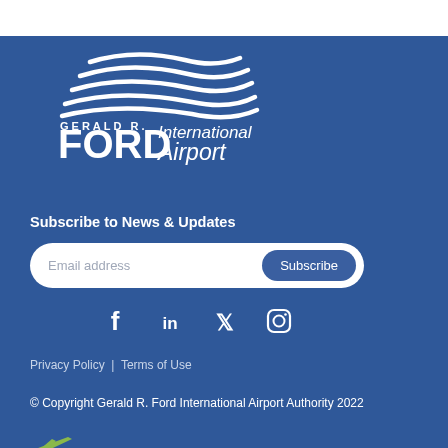[Figure (logo): Gerald R. Ford International Airport logo with white wave/swoosh graphic above text reading GERALD R. FORD International Airport on dark blue background]
Subscribe to News & Updates
Email address   Subscribe
[Figure (infographic): Social media icons: Facebook, LinkedIn, Twitter, Instagram]
Privacy Policy | Terms of Use
© Copyright Gerald R. Ford International Airport Authority 2022
[Figure (logo): Small green airplane/departure icon]